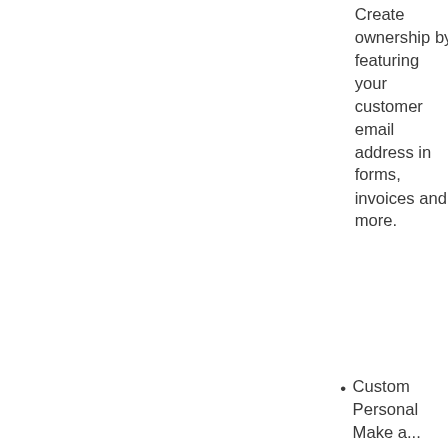Create ownership by featuring your customer email address in forms, invoices and more.
Custom Personal Make a...